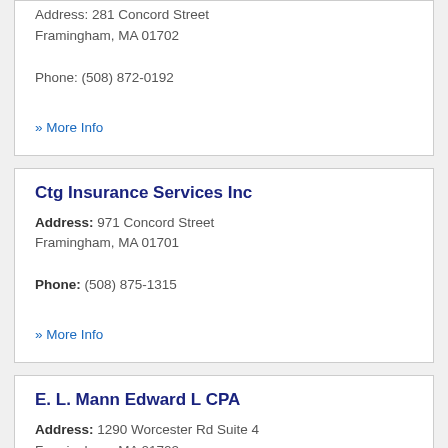Address: 281 Concord Street Framingham, MA 01702
Phone: (508) 872-0192
» More Info
Ctg Insurance Services Inc
Address: 971 Concord Street Framingham, MA 01701
Phone: (508) 875-1315
» More Info
E. L. Mann Edward L CPA
Address: 1290 Worcester Rd Suite 4 Framingham, MA 01702